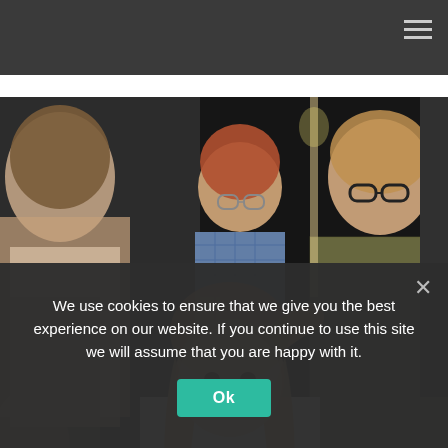Navigation bar with hamburger menu icon
[Figure (photo): A woman wearing glasses and a green/olive knit top leaning forward to give communion (a small piece of bread/wafer) to a young girl with long wavy light brown hair wearing a white top. In the background, a woman in a light-colored top stands next to a young boy with glasses and a blue checked shirt. The setting appears to be a church service. The woman giving communion holds a gold-colored bowl/paten.]
We use cookies to ensure that we give you the best experience on our website. If you continue to use this site we will assume that you are happy with it.